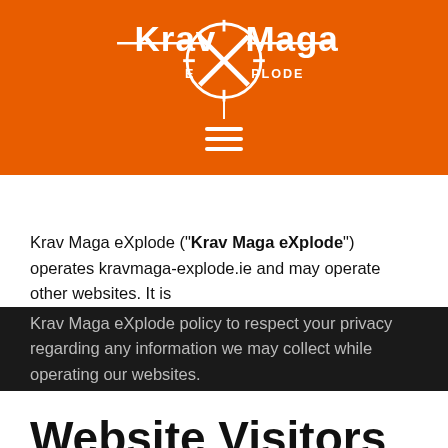[Figure (logo): Krav Maga eXplode logo in white on orange background with crosshair/target symbol]
Krav Maga eXplode ("Krav Maga eXplode") operates kravmaga-explode.ie and may operate other websites. It is Krav Maga eXplode policy to respect your privacy regarding any information we may collect while operating our websites.
Website Visitors
Like most website operators, Krav Maga eXplode collects non-